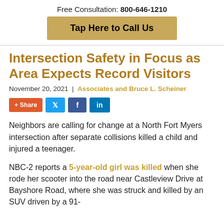Free Consultation: 800-646-1210
Tap Here to Call Us
Intersection Safety in Focus as Area Expects Record Visitors
November 20, 2021  |  Associates and Bruce L. Scheiner
+ Share  [Twitter]  [Facebook]  [LinkedIn]
Neighbors are calling for change at a North Fort Myers intersection after separate collisions killed a child and injured a teenager.
NBC-2 reports a 5-year-old girl was killed when she rode her scooter into the road near Castleview Drive at Bayshore Road, where she was struck and killed by an SUV driven by a 91-